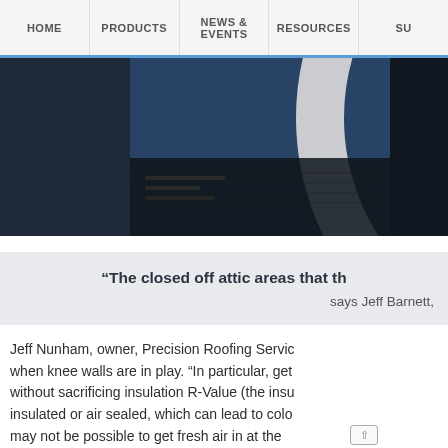HOME | PRODUCTS | NEWS & EVENTS | RESOURCES | SU
[Figure (photo): Partial photograph showing a large white curved structure (possibly a pipe or roofing element) against a dark blue sky background, rendered in dark tones.]
“The closed off attic areas that th… says Jeff Barnett,
Jeff Nunham, owner, Precision Roofing Servic… when knee walls are in play. “In particular, get… without sacrificing insulation R-Value (the insu… insulated or air sealed, which can lead to colo… may not be possible to get fresh air in at the…